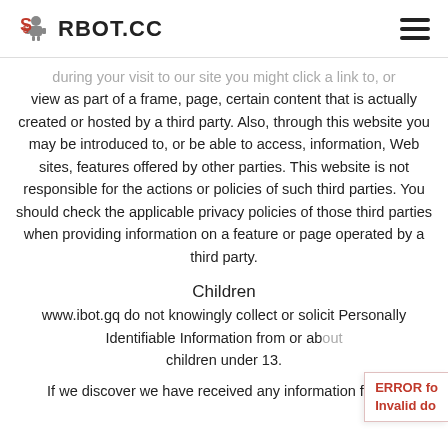RBOT.CC
during your visit to our site you might click a link to, or view as part of a frame, page, certain content that is actually created or hosted by a third party. Also, through this website you may be introduced to, or be able to access, information, Web sites, features offered by other parties. This website is not responsible for the actions or policies of such third parties. You should check the applicable privacy policies of those third parties when providing information on a feature or page operated by a third party.
Children
www.ibot.gq do not knowingly collect or solicit Personally Identifiable Information from or about children under 13.
If we discover we have received any information from a